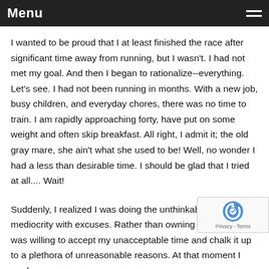Menu
I wanted to be proud that I at least finished the race after significant time away from running, but I wasn't. I had not met my goal. And then I began to rationalize--everything. Let's see. I had not been running in months. With a new job, busy children, and everyday chores, there was no time to train. I am rapidly approaching forty, have put on some weight and often skip breakfast. All right, I admit it; the old gray mare, she ain't what she used to be! Well, no wonder I had a less than desirable time. I should be glad that I tried at all.... Wait!
Suddenly, I realized I was doing the unthinkable--justifying mediocrity with excuses. Rather than owning up to reality, I was willing to accept my unacceptable time and chalk it up to a plethora of unreasonable reasons. At that moment I made a